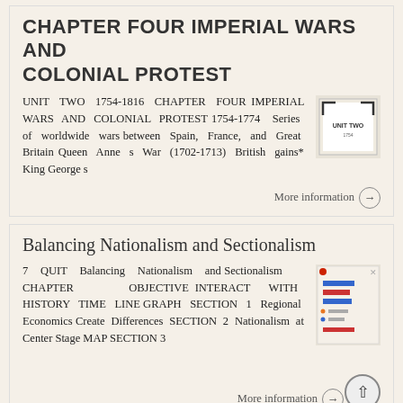CHAPTER FOUR IMPERIAL WARS AND COLONIAL PROTEST
UNIT TWO 1754-1816 CHAPTER FOUR IMPERIAL WARS AND COLONIAL PROTEST 1754-1774 Series of worldwide wars between Spain, France, and Great Britain Queen Anne s War (1702-1713) British gains* King George s
[Figure (screenshot): Thumbnail image showing a book or document page labeled UNIT TWO]
More information →
Balancing Nationalism and Sectionalism
7 QUIT Balancing Nationalism and Sectionalism CHAPTER OBJECTIVE INTERACT WITH HISTORY TIME LINE GRAPH SECTION 1 Regional Economics Create Differences SECTION 2 Nationalism at Center Stage MAP SECTION 3
[Figure (screenshot): Thumbnail image showing a chapter page with colored bars and timeline graph]
More information →